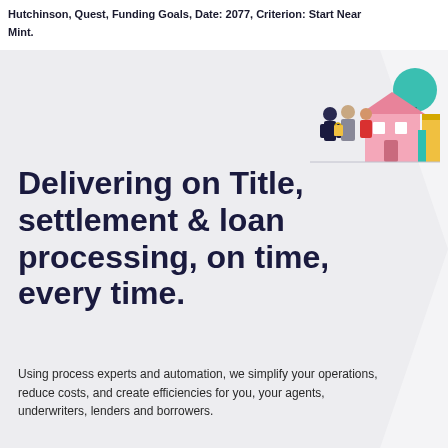Hutchinson, Quest, Funding Goals, Date: 2077, Criterion: Start Near Mint.
[Figure (illustration): Colorful illustration of people standing near a pink house with teal trees]
Delivering on Title, settlement & loan processing, on time, every time.
Using process experts and automation, we simplify your operations, reduce costs, and create efficiencies for you, your agents, underwriters, lenders and borrowers.